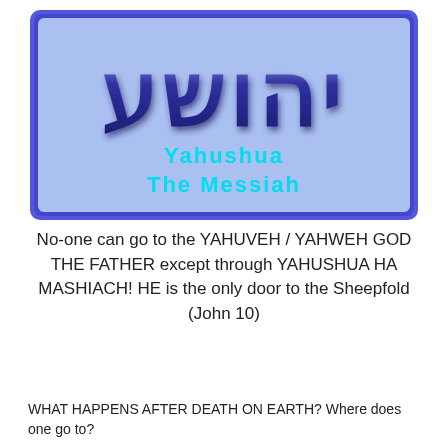[Figure (illustration): A rectangular banner with a blue/purple border and light blue background. Large decorative Hebrew letters in dark blue/purple with a 3D glossy effect are displayed at the top. Below in cyan/turquoise text reads 'Yahushua The Messiah'.]
No-one can go to the YAHUVEH / YAHWEH GOD THE FATHER except through YAHUSHUA HA MASHIACH! HE is the only door to the Sheepfold (John 10)
WHAT HAPPENS AFTER DEATH ON EARTH? Where does one go to?